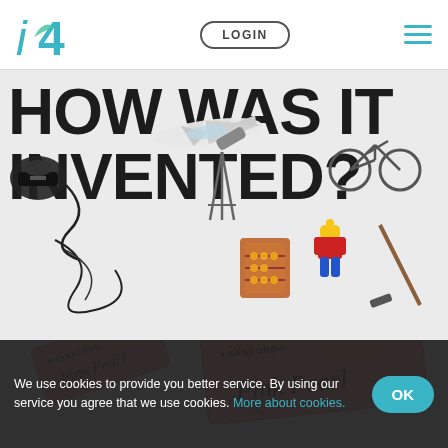[Figure (logo): i4 logo in teal/cyan color, italic i followed by bold 4]
LOGIN
[Figure (illustration): Hamburger menu icon with three teal horizontal lines]
HOW WAS IT INVENTED?
[Figure (photo): Various inventions overlaid on title text: telephone, airplane, telescope/tripod, bicycle, abacus, cables, Lego figure, hockey stick]
[Figure (photo): Two pink Sanford Pink Pearl erasers (model 100) on white/gray background]
We use cookies to provide you better service. By using our service you agree that we use cookies. More about cookies.